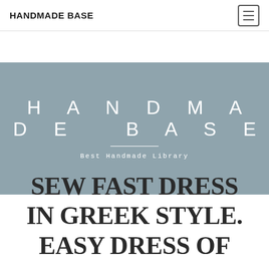HANDMADE BASE
[Figure (screenshot): Hero banner with steel blue/gray background showing 'HANDMADE BASE' in large spaced white letters and subtitle 'Best Handmade Library']
SEW FAST DRESS IN GREEK STYLE. EASY DRESS OF